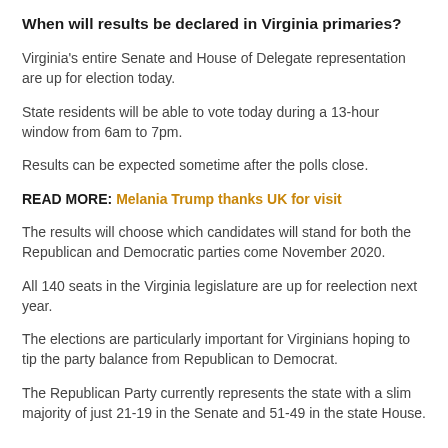When will results be declared in Virginia primaries?
Virginia's entire Senate and House of Delegate representation are up for election today.
State residents will be able to vote today during a 13-hour window from 6am to 7pm.
Results can be expected sometime after the polls close.
READ MORE: Melania Trump thanks UK for visit
The results will choose which candidates will stand for both the Republican and Democratic parties come November 2020.
All 140 seats in the Virginia legislature are up for reelection next year.
The elections are particularly important for Virginians hoping to tip the party balance from Republican to Democrat.
The Republican Party currently represents the state with a slim majority of just 21-19 in the Senate and 51-49 in the state House.